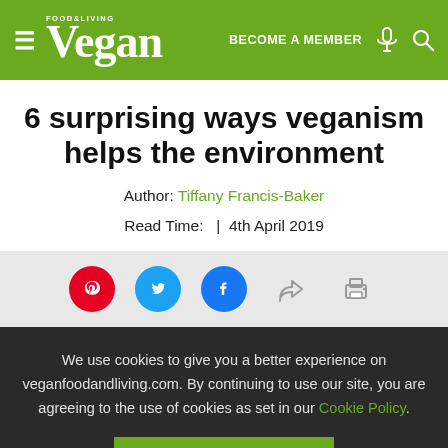Vegan Food & Living — BECOME A MEMBER
6 surprising ways veganism helps the environment
Author: Tiffany Francis-Baker
Read Time:  |  4th April 2019
[Figure (other): Social share icons: Pinterest, Twitter, Facebook, share arrow, print]
We use cookies to give you a better experience on veganfoodandliving.com. By continuing to use our site, you are agreeing to the use of cookies as set in our Cookie Policy.
OK, got it